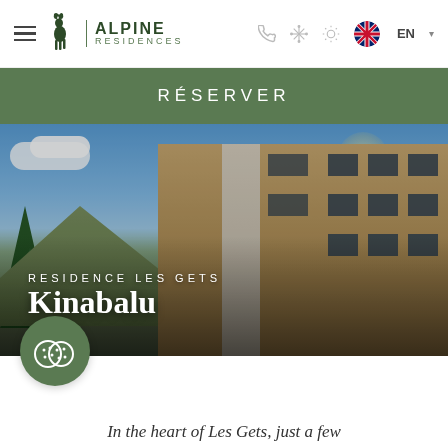[Figure (screenshot): Alpine Residences website header with hamburger menu, deer logo, navigation icons (phone, snowflake, sun), UK flag and EN language selector]
RÉSERVER
[Figure (photo): Exterior photo of Residence Les Gets Kinabalu, a multi-storey alpine chalet-style building with wooden facade, stone pillars, balconies, set against a mountain and blue sky background]
RESIDENCE LES GETS
Kinabalu
[Figure (illustration): Cookie/biscuit icon in a circular olive green badge]
In the heart of Les Gets, just a few